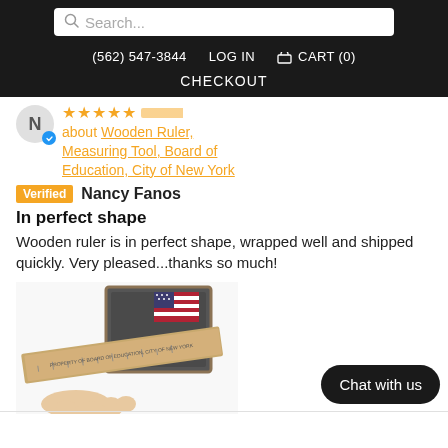Search...  (562) 547-3844  LOG IN  CART (0)  CHECKOUT
about Wooden Ruler, Measuring Tool, Board of Education, City of New York
Verified  Nancy Fanos
In perfect shape
Wooden ruler is in perfect shape, wrapped well and shipped quickly. Very pleased...thanks so much!
[Figure (photo): Photo of a wooden ruler with 'Board of Education, City of New York' text, held by a hand, with a small chalkboard and American flag in the background.]
Chat with us